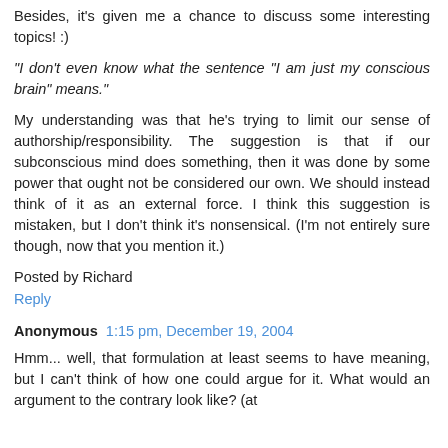Besides, it's given me a chance to discuss some interesting topics! :)
"I don't even know what the sentence "I am just my conscious brain" means."
My understanding was that he's trying to limit our sense of authorship/responsibility. The suggestion is that if our subconscious mind does something, then it was done by some power that ought not be considered our own. We should instead think of it as an external force. I think this suggestion is mistaken, but I don't think it's nonsensical. (I'm not entirely sure though, now that you mention it.)
Posted by Richard
Reply
Anonymous 1:15 pm, December 19, 2004
Hmm... well, that formulation at least seems to have meaning, but I can't think of how one could argue for it. What would an argument to the contrary look like? (at